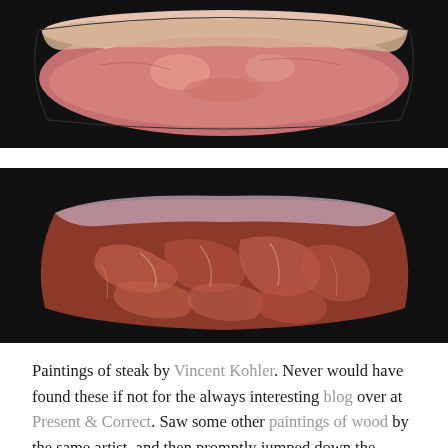[Figure (photo): Painting of a raw steak cut against a black background, viewed from above, showing pink and white marbled meat with a fat cap along the top edge.]
[Figure (photo): Painting of a raw steak cut against a black background, viewed from above showing the underside, with darker red-brown coloring, connective tissue patterns, and a fat cap along the top edge.]
Paintings of steak by Vincent Kohler. Never would have found these if not for the always interesting blog over at Present & Correct. Saw some other paintings of wood by the same artist, and then promptly jumped down the